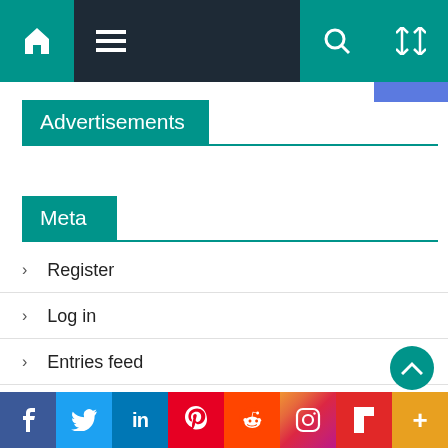Navigation bar with home, menu, search, and shuffle icons
Advertisements
Meta
Register
Log in
Entries feed
Comments feed
Social share bar: Facebook, Twitter, LinkedIn, Pinterest, Reddit, Instagram, Flipboard, More